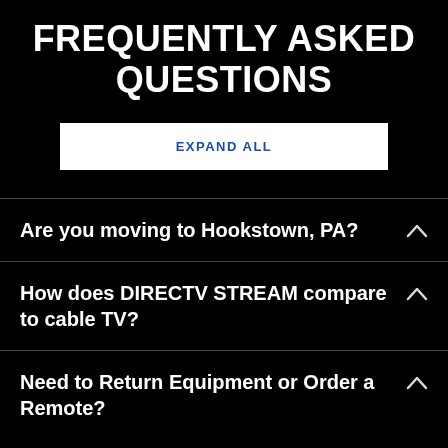FREQUENTLY ASKED QUESTIONS
EXPAND ALL
Are you moving to Hookstown, PA?
How does DIRECTV STREAM compare to cable TV?
Need to Return Equipment or Order a Remote?